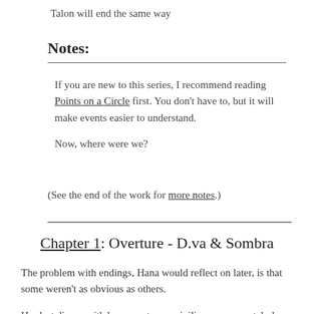Talon will end the same way
Notes:
If you are new to this series, I recommend reading Points on a Circle first. You don't have to, but it will make events easier to understand.
Now, where were we?
(See the end of the work for more notes.)
Chapter 1: Overture - D.va & Sombra
The problem with endings, Hana would reflect on later, is that some weren't as obvious as others.
Her last dinner with her parents as a civilian was a crystal-clear memory of forced smiles and empty words about how proud they were. Her last shoot on set in Hollywood was a blurred mess of laughter and exhaustion thrown into a memory-blender set on high.